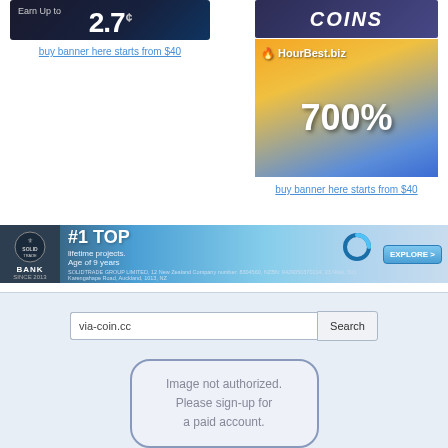[Figure (screenshot): Left ad banner showing 'Earn Up to 2.7¢' on dark background]
buy banner here starts from $40
[Figure (screenshot): Right top ad banner showing 'INFINITY COINS' on dark purple background]
[Figure (screenshot): Right main ad banner showing HourBest.biz with 700% on yellow/blue background]
buy banner here starts from $40
[Figure (screenshot): Solid Trade Bank banner: #1 TOP lifetime projects. Age of 9 years. EXPLORE > button]
[Figure (screenshot): Search box with 'via-coin.cc' text and Search button, with 'Image not authorized. Please sign-up for a paid account.' placeholder box below]